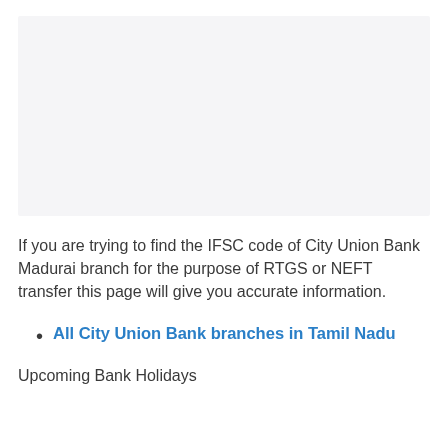[Figure (other): Light gray rectangular placeholder image area at top of page]
If you are trying to find the IFSC code of City Union Bank Madurai branch for the purpose of RTGS or NEFT transfer this page will give you accurate information.
All City Union Bank branches in Tamil Nadu
Upcoming Bank Holidays